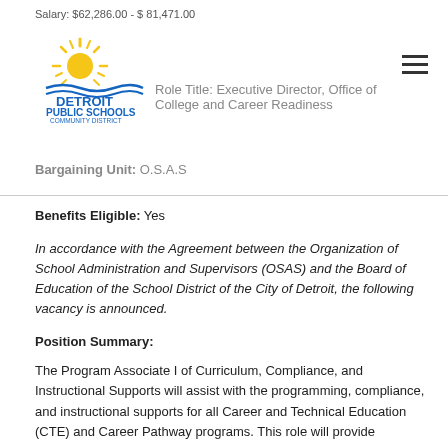Salary: $62,286.00 - $ 81,471.00
Role Title: Executive Director, Office of College and Career Readiness
Bargaining Unit: O.S.A.S
Benefits Eligible: Yes
In accordance with the Agreement between the Organization of School Administration and Supervisors (OSAS) and the Board of Education of the School District of the City of Detroit, the following vacancy is announced.
Position Summary:
The Program Associate I of Curriculum, Compliance, and Instructional Supports will assist with the programming, compliance, and instructional supports for all Career and Technical Education (CTE) and Career Pathway programs. This role will provide guidance, administrative,  and technical support to Career Academy Leads, CTC support staff, teachers, and students on the district's career readiness framework through aligned curriculum, instruction, assessments, CTE-MDE compliance, and professional development.